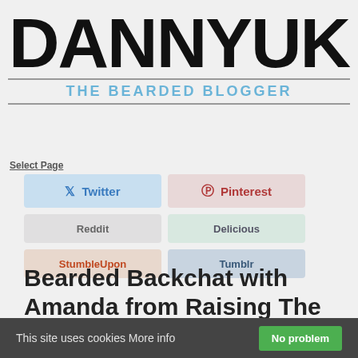DannyUK
THE BEARDED BLOGGER
Select Page
[Figure (infographic): Social media share buttons: Twitter, Pinterest, Reddit, Delicious, StumbleUpon, Tumblr]
Bearded Backchat with Amanda from Raising The Rainbows
by DannyUK | May 15, 2016 | Bearded Backchat,
This site uses cookies More info No problem